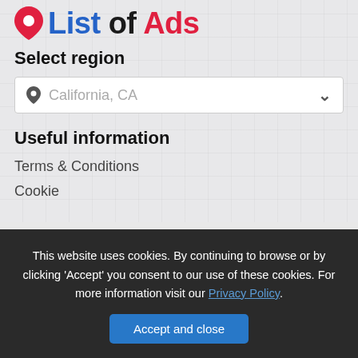[Figure (logo): List of Ads logo with a red map pin icon, 'List' in blue bold, 'of' in black bold, 'Ads' in red bold]
Select region
California, CA
Useful information
Terms & Conditions
Cookie
This website uses cookies. By continuing to browse or by clicking 'Accept' you consent to our use of these cookies. For more information visit our Privacy Policy.
Accept and close